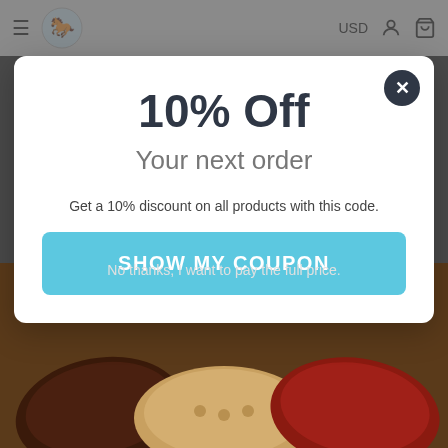[Figure (screenshot): Website navbar with hamburger menu icon, logo, USD label, user icon, and cart icon on a light gray background]
10% Off
Your next order
Get a 10% discount on all products with this code.
SHOW MY COUPON
No thanks, I want to pay the full price.
[Figure (photo): Decorative throw pillows in orange, red and tan colors at the bottom of the page]